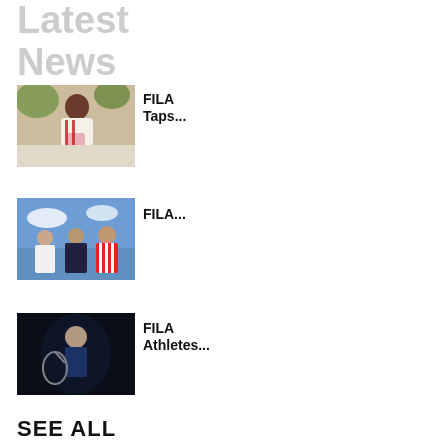Latest News
[Figure (photo): Woman in red and white FILA outfit standing outdoors near foliage]
FILA
Taps...
[Figure (photo): Three athletes in red and white striped DIESEL jersey and sports apparel against blue sky]
FILA...
[Figure (photo): Female tennis player holding racket on dark background]
FILA
Athletes...
SEE ALL